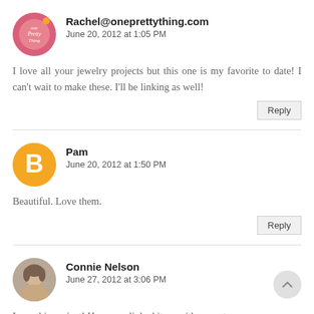Rachel@oneprettything.com
June 20, 2012 at 1:05 PM
I love all your jewelry projects but this one is my favorite to date! I can't wait to make these. I'll be linking as well!
Pam
June 20, 2012 at 1:50 PM
Beautiful. Love them.
Connie Nelson
June 27, 2012 at 3:06 PM
Love this project! Have you linked it up with me yet.